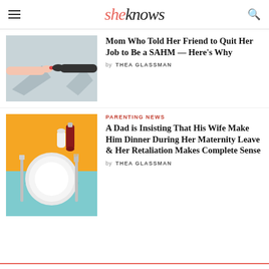sheknows
[Figure (photo): Two hands pointing at each other with shadows on a light background]
Mom Who Told Her Friend to Quit Her Job to Be a SAHM — Here's Why
by THEA GLASSMAN
PARENTING NEWS
[Figure (photo): A white dinner plate with cutlery on a split orange and blue background with condiment bottles]
A Dad is Insisting That His Wife Make Him Dinner During Her Maternity Leave & Her Retaliation Makes Complete Sense
by THEA GLASSMAN